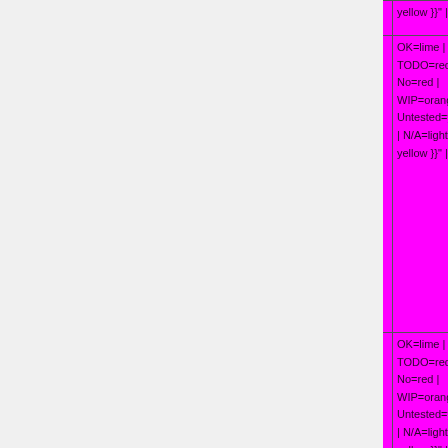| Feature | Status Legend |
| --- | --- |
|  | yellow }}" | N/A=lightgray yellow }}" | N/A=... |
| Fn Hotkeys | OK=lime | TODO=red | No=red | WIP=orange Untested=yellow | N/A=lightgray yellow }}" | N/A=... |
| Fingerprint Reader | OK=lime | TODO=red | No=red | WIP=orange Untested=yellow | N/A=lightgray yellow }}" | N/A=... |
| Laptop |  |
| Docking VGA | OK=lime | TODO=red | No=red | WIP=orange Untested=yellow | N/A=lightgray yellow }}" | N/A=... |